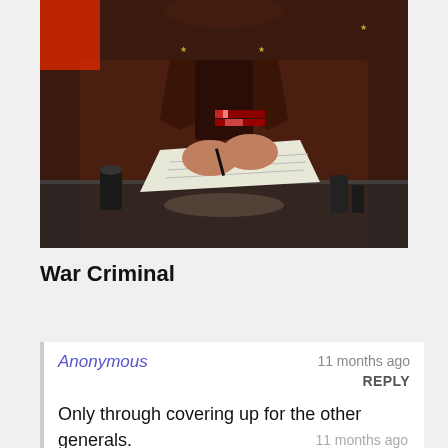[Figure (photo): A military officer in a dark brown uniform with medals/ribbons on the chest, holding a pen and writing on paper at a desk. The image is cropped to show the torso and hands.]
War Criminal
Anonymous   11 months ago
REPLY

Only through covering up for the other generals.
11 months ago